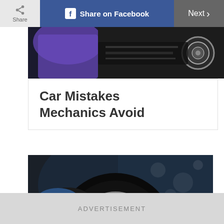Share | Share on Facebook | Next >
[Figure (photo): Partial photo of a car interior/detail, dark tones with purple and chrome elements]
Car Mistakes Mechanics Avoid
[Figure (photo): Man wearing a blue cap and black shirt washing/cleaning a car wheel and tire with a sponge, soapy water visible]
ADVERTISEMENT